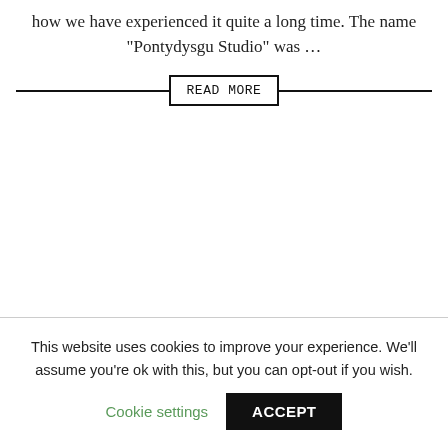how we have experienced it quite a long time. The name "Pontydysgu Studio" was …
READ MORE
This website uses cookies to improve your experience. We'll assume you're ok with this, but you can opt-out if you wish. Cookie settings ACCEPT